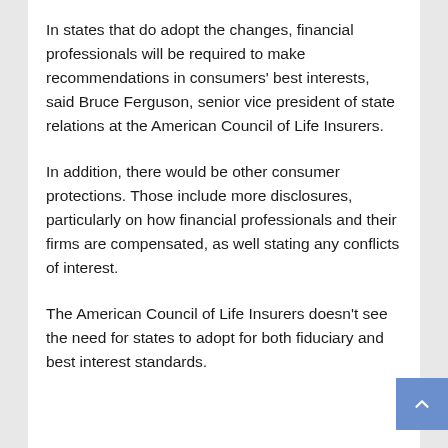In states that do adopt the changes, financial professionals will be required to make recommendations in consumers' best interests, said Bruce Ferguson, senior vice president of state relations at the American Council of Life Insurers.
In addition, there would be other consumer protections. Those include more disclosures, particularly on how financial professionals and their firms are compensated, as well stating any conflicts of interest.
The American Council of Life Insurers doesn't see the need for states to adopt for both fiduciary and best interest standards.